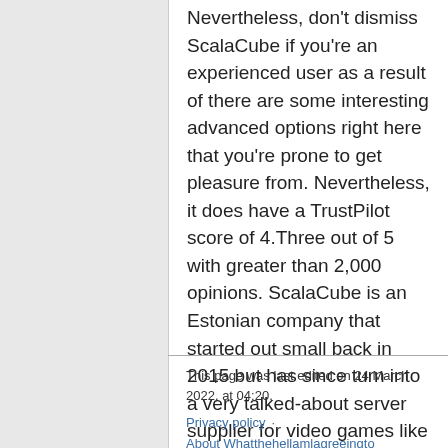Nevertheless, don't dismiss ScalaCube if you're an experienced user as a result of there are some interesting advanced options right here that you're prone to get pleasure from. Nevertheless, it does have a TrustPilot score of 4.Three out of 5 with greater than 2,000 opinions. ScalaCube is an Estonian company that started out small back in 2015 but has since turn into a very talked-about server supplier for video games like Rust, Ark: Survival Advanced, and of course, Minecraft.
This page was last edited on 24 March 2022, at 04:20.
Privacy policy   About Whatthehellamlagreeingto   Disclaimers